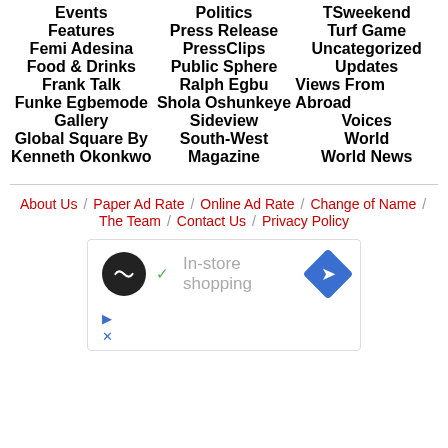Events
Features
Femi Adesina
Food & Drinks
Frank Talk
Funke Egbemode
Gallery
Global Square By Kenneth Okonkwo
Politics
Press Release
PressClips
Public Sphere
Ralph Egbu
Shola Oshunkeye
Sideview
South-West Magazine
TSweekend
Turf Game
Uncategorized
Updates
Views From Abroad
Voices
World
World News
About Us / Paper Ad Rate / Online Ad Rate / Change of Name / The Team / Contact Us / Privacy Policy
[Figure (screenshot): Advertisement banner showing in-store shopping with a black circular logo, green checkmark, and blue diamond arrow icon]